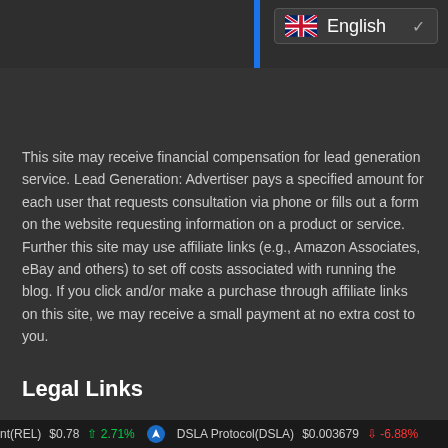English
This site may receive financial compensation for lead generation service. Lead Generation: Advertiser pays a specified amount for each user that requests consultation via phone or fills out a form on the website requesting information on a product or service. Further this site may use affiliate links (e.g., Amazon Associates, eBay and others) to set off costs associated with running the blog. If you click and/or make a purchase through affiliate links on this site, we may receive a small payment at no extra cost to you.
Legal Links
FTC
PRIVACY
CONTACT
nt(REL) $0.78 ↑ 2.71%   DSLA Protocol(DSLA) $0.003679 ↓ -6.88%